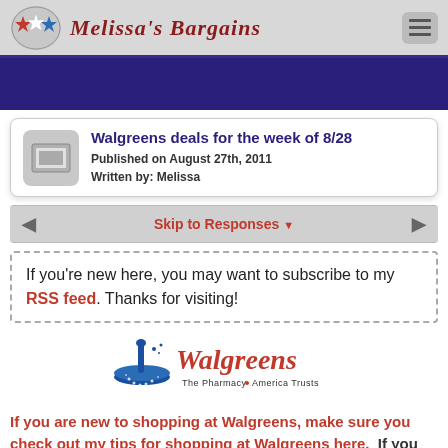Melissa's Bargains
Walgreens deals for the week of 8/28
Published on August 27th, 2011
Written by: Melissa
Skip to Responses
If you're new here, you may want to subscribe to my RSS feed. Thanks for visiting!
[Figure (logo): Walgreens logo — mortar and pestle with 'Walgreens The Pharmacy America Trusts']
If you are new to shopping at Walgreens, make sure you check out my tips for shopping at Walgreens here. If you need coupons for the deals this week, check out My Coupon